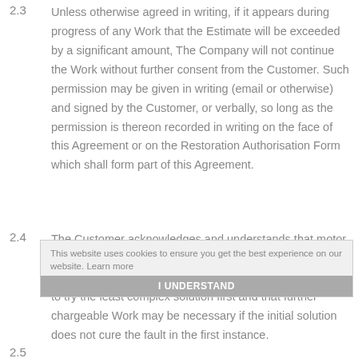2.3  Unless otherwise agreed in writing, if it appears during progress of any Work that the Estimate will be exceeded by a significant amount, The Company will not continue the Work without further consent from the Customer. Such permission may be given in writing (email or otherwise) and signed by the Customer, or verbally, so long as the permission is thereon recorded in writing on the face of this Agreement or on the Restoration Authorisation Form which shall form part of this Agreement.
2.4  The Customer acknowledges and understands that motor vehicles, and their components, are complex pieces of machinery and that to repair any defects it is appropriate to try the least complex solution first and that further chargeable Work may be necessary if the initial solution does not cure the fault in the first instance.
[Figure (screenshot): Cookie consent overlay banner with text 'This website uses cookies to ensure you get the best experience on our website. Learn more' and a grey button labeled 'I UNDERSTAND']